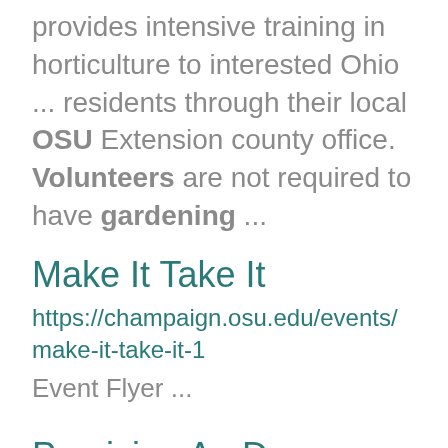provides intensive training in horticulture to interested Ohio ... residents through their local OSU Extension county office. Volunteers are not required to have gardening ...
Make It Take It
https://champaign.osu.edu/events/make-it-take-it-1
Event Flyer ...
Precision Ag Day
https://champaign.osu.edu/events/precision-ag-day
Event Flyer ...